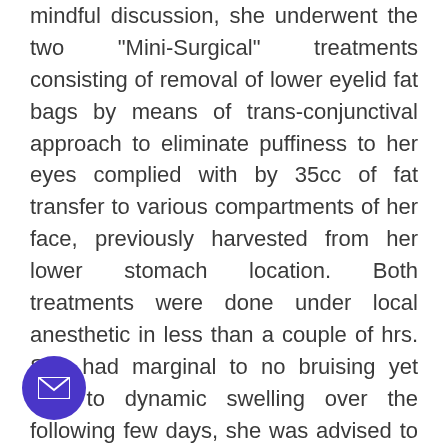mindful discussion, she underwent the two "Mini-Surgical" treatments consisting of removal of lower eyelid fat bags by means of trans-conjunctival approach to eliminate puffiness to her eyes complied with by 35cc of fat transfer to various compartments of her face, previously harvested from her lower stomach location. Both treatments were done under local anesthetic in less than a couple of hrs. She had marginal to no bruising yet due to dynamic swelling over the following few days, she was advised to recover in your home. Because she worked as a partner in a large Certified Public Accountant firm, she chose to work out of her residence for the remainder of the week, but was able to resume tasks within a few days. When she returned to work the complying with week, people noted she looked well rested from her much was